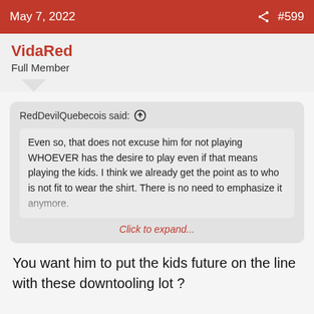May 7, 2022   #599
VidaRed
Full Member
RedDevilQuebecois said: ↑
Even so, that does not excuse him for not playing WHOEVER has the desire to play even if that means playing the kids. I think we already get the point as to who is not fit to wear the shirt. There is no need to emphasize it anymore.
Click to expand...
You want him to put the kids future on the line with these downtooling lot ?